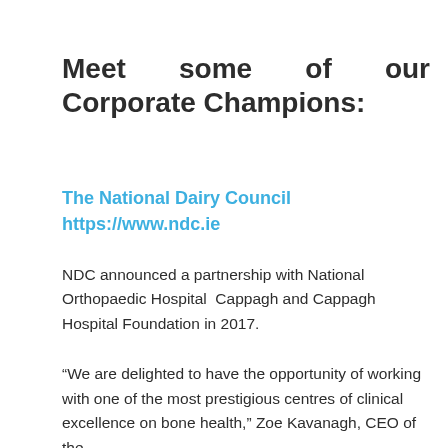Meet some of our Corporate Champions:
The National Dairy Council
https://www.ndc.ie
NDC announced a partnership with National Orthopaedic Hospital  Cappagh and Cappagh Hospital Foundation in 2017.
“We are delighted to have the opportunity of working with one of the most prestigious centres of clinical excellence on bone health,” Zoe Kavanagh, CEO of the